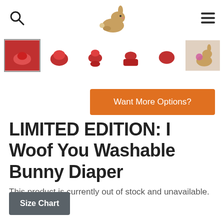Navigation bar with search icon, bunny logo, and menu icon
[Figure (photo): Thumbnail strip showing 6 product images of red patterned bunny diapers and a photo of a bunny wearing one]
Want More Options?
LIMITED EDITION: I Woof You Washable Bunny Diaper
This product is currently out of stock and unavailable.
Size Chart